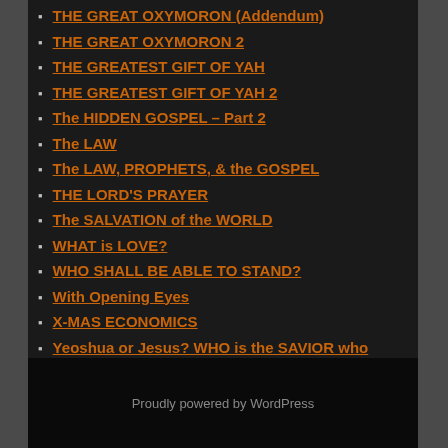THE GREAT OXYMORON (Addendum)
THE GREAT OXYMORON 2
THE GREATEST GIFT OF YAH
THE GREATEST GIFT OF YAH 2
The HIDDEN GOSPEL – Part 2
The LAW
The LAW, PROPHETS, & the GOSPEL
THE LORD'S PRAYER
The SALVATION of the WORLD
WHAT is LOVE?
WHO SHALL BE ABLE TO STAND?
With Opening Eyes
X-MAS ECONOMICS
Yeoshua or Jesus? WHO is the SAVIOR who SAVES MEN from SINS?
Proudly powered by WordPress